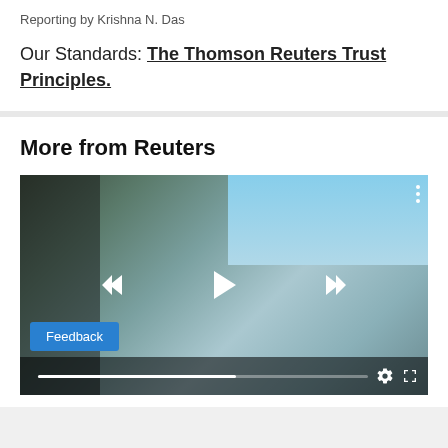Reporting by Krishna N. Das
Our Standards: The Thomson Reuters Trust Principles.
More from Reuters
[Figure (screenshot): Video player showing an outdoor terrace/rooftop scene with trees, sculptures, and a blue sky. Controls include skip-back, play, skip-forward buttons, a progress bar, settings gear icon, and fullscreen icon. A blue Feedback button is visible in the bottom-left corner.]